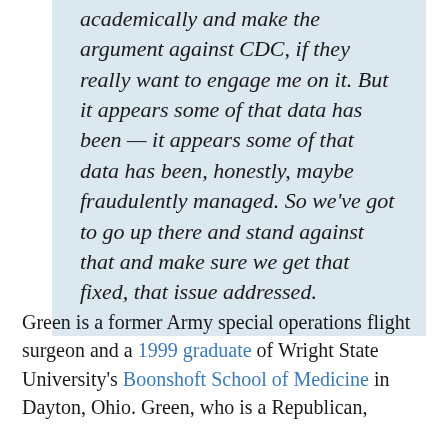academically and make the argument against CDC, if they really want to engage me on it. But it appears some of that data has been — it appears some of that data has been, honestly, maybe fraudulently managed. So we've got to go up there and stand against that and make sure we get that fixed, that issue addressed.
Green is a former Army special operations flight surgeon and a 1999 graduate of Wright State University's Boonshoft School of Medicine in Dayton, Ohio. Green, who is a Republican,